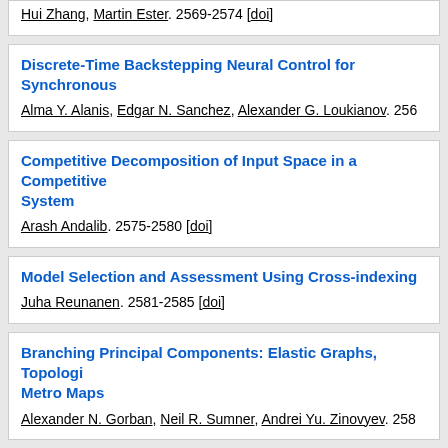Hui Zhang, Martin Ester. 2569-2574 [doi]
Discrete-Time Backstepping Neural Control for Synchronous...
Alma Y. Alanis, Edgar N. Sanchez, Alexander G. Loukianov. 256...
Competitive Decomposition of Input Space in a Competitive System
Arash Andalib. 2575-2580 [doi]
Model Selection and Assessment Using Cross-indexing
Juha Reunanen. 2581-2585 [doi]
Branching Principal Components: Elastic Graphs, Topologi... Metro Maps
Alexander N. Gorban, Neil R. Sumner, Andrei Yu. Zinovyev. 258...
Incremental Learning for Text Document Classification
ZhiHang Chen, Liping Huang, Yi Lu Murphey. 2592-2597 [doi]